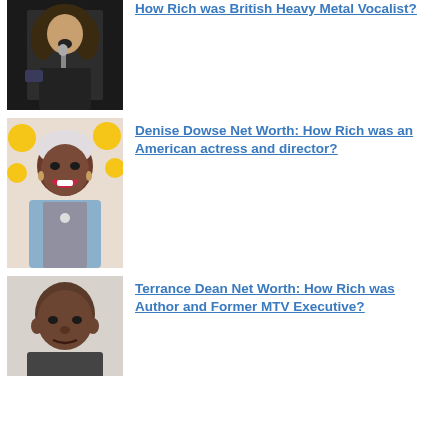[Figure (photo): A heavy metal vocalist with long curly hair, singing into a microphone on stage, wearing a sleeveless jacket.]
How Rich was British Heavy Metal Vocalist?
[Figure (photo): Denise Dowse, an American actress and director, smiling, with short silver hair, wearing a blue jacket.]
Denise Dowse Net Worth: How Rich was an American actress and director?
[Figure (photo): Terrance Dean, a bald African-American man, photographed in front of a light background.]
Terrance Dean Net Worth: How Rich was Author and Former MTV Executive?